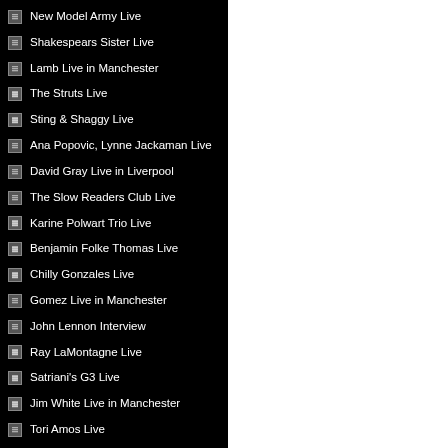New Model Army Live
Shakespears Sister Live
Lamb Live in Manchester
The Struts Live
Sting & Shaggy Live
Ana Popovic, Lynne Jackaman Live
David Gray Live in Liverpool
The Slow Readers Club Live
Karine Polwart Trio Live
Benjamin Folke Thomas Live
Chilly Gonzales Live
Gomez Live in Manchester
John Lennon Interview
Ray LaMontagne Live
Satriani's G3 Live
Jim White Live in Manchester
Tori Amos Live
Bush & RavenEye Live
Laura Marling Live
Jimmy Eat World Live